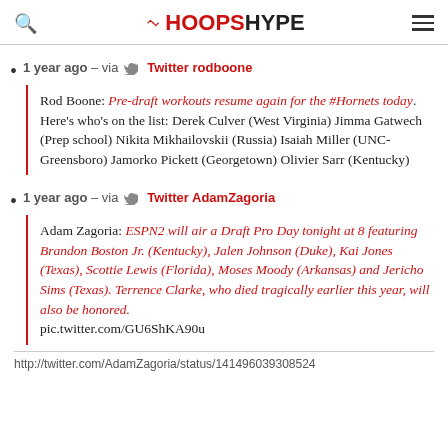HOOPSHYPE
1 year ago – via Twitter rodboone
Rod Boone: Pre-draft workouts resume again for the #Hornets today. Here's who's on the list: Derek Culver (West Virginia) Jimma Gatwech (Prep school) Nikita Mikhailovskii (Russia) Isaiah Miller (UNC-Greensboro) Jamorko Pickett (Georgetown) Olivier Sarr (Kentucky)
1 year ago – via Twitter AdamZagoria
Adam Zagoria: ESPN2 will air a Draft Pro Day tonight at 8 featuring Brandon Boston Jr. (Kentucky), Jalen Johnson (Duke), Kai Jones (Texas), Scottie Lewis (Florida), Moses Moody (Arkansas) and Jericho Sims (Texas). Terrence Clarke, who died tragically earlier this year, will also be honored. pic.twitter.com/GU6ShKA90u
http://twitter.com/AdamZagoria/status/141496039308524